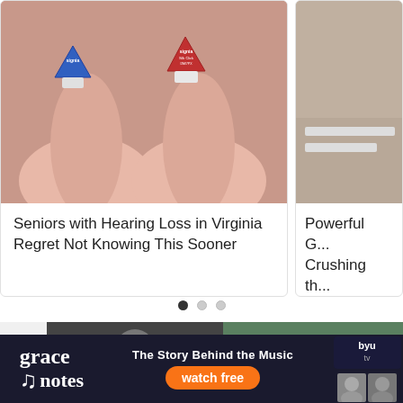[Figure (photo): Two tiny hearing aids (one blue, one red, both branded Signia) held between fingers, close-up photo]
Seniors with Hearing Loss in Virginia Regret Not Knowing This Sooner
[Figure (photo): Partial view of a second card image, cropped on right side]
Powerful G... Crushing th...
[Figure (infographic): Carousel dot indicators: one filled dark dot and two light/empty dots]
[Figure (photo): Bottom left thumbnail: dark-toned photo of a person]
[Figure (photo): Bottom right thumbnail: photo with light/white bird or animal on green background]
[Figure (other): Advertisement banner for 'grace notes' on BYUtv. Shows logo, tagline 'The Story Behind the Music', orange 'watch free' button, BYUtv logo, and people photos.]